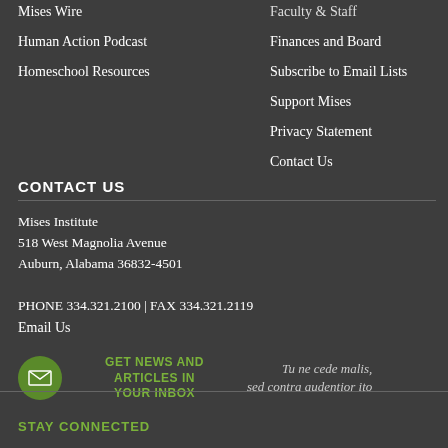Mises Wire
Human Action Podcast
Homeschool Resources
Faculty & Staff
Finances and Board
Subscribe to Email Lists
Support Mises
Privacy Statement
Contact Us
CONTACT US
Mises Institute
518 West Magnolia Avenue
Auburn, Alabama 36832-4501
PHONE 334.321.2100 | FAX 334.321.2119
Email Us
GET NEWS AND ARTICLES IN YOUR INBOX
Tu ne cede malis, sed contra audentior ito
STAY CONNECTED